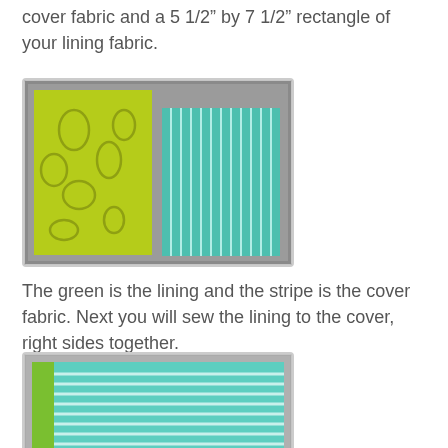cover fabric and a 5 1/2” by 7 1/2” rectangle of your lining fabric.
[Figure (photo): Two fabric pieces laid flat on a cutting mat: a yellow-green patterned fabric on the left and a teal/white vertical stripe fabric on the right.]
The green is the lining and the stripe is the cover fabric. Next you will sew the lining to the cover, right sides together.
[Figure (photo): Two fabric pieces sewn together and laid flat: the teal/white stripe fabric on top with a green lining strip visible on the left edge, on a gray background.]